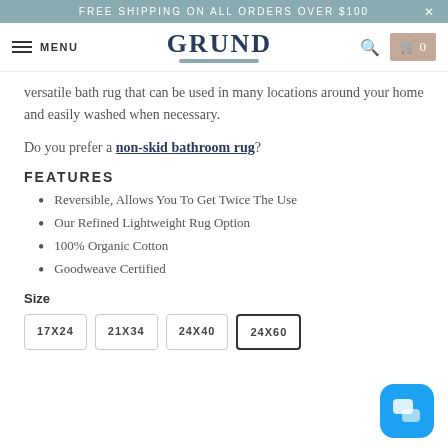FREE SHIPPING ON ALL ORDERS OVER $100
[Figure (logo): GRUND brand logo with wavy underline]
versatile bath rug that can be used in many locations around your home and easily washed when necessary.
Do you prefer a non-skid bathroom rug?
FEATURES
Reversible, Allows You To Get Twice The Use
Our Refined Lightweight Rug Option
100% Organic Cotton
Goodweave Certified
Size
17X24  21X34  24X40  24X60